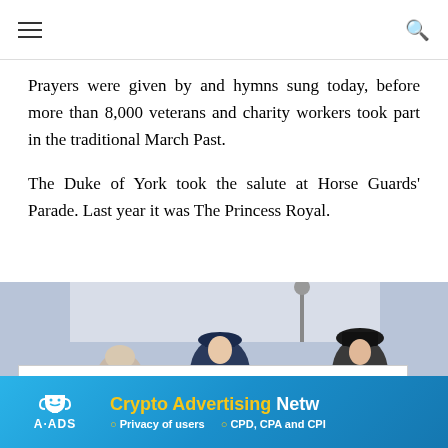Navigation header with hamburger menu and search icon
Prayers were given by and hymns sung today, before more than 8,000 veterans and charity workers took part in the traditional March Past.
The Duke of York took the salute at Horse Guards' Parade. Last year it was The Princess Royal.
[Figure (photo): Photograph showing military/ceremonial figures, one wearing a navy officer cap and one wearing a black bowler hat, with a pale blue/white backdrop suggesting flags or bunting]
Privacy & Cookies: This site uses cookies. By continuing to use this website, you agree to their use. To find out more, including how to control cookies, see here: Cookie
Crypto Advertising Netw... • Privacy of users • CPD, CPA and CPI...